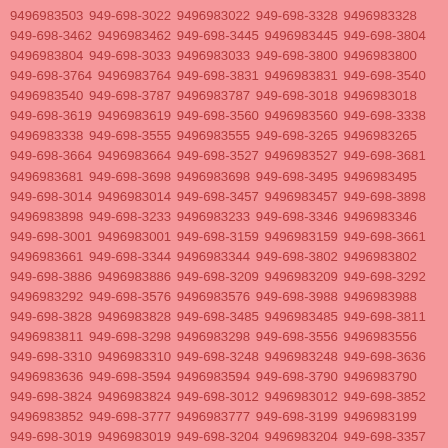9496983503 949-698-3022 9496983022 949-698-3328 9496983328 949-698-3462 9496983462 949-698-3445 9496983445 949-698-3804 9496983804 949-698-3033 9496983033 949-698-3800 9496983800 949-698-3764 9496983764 949-698-3831 9496983831 949-698-3540 9496983540 949-698-3787 9496983787 949-698-3018 9496983018 949-698-3619 9496983619 949-698-3560 9496983560 949-698-3338 9496983338 949-698-3555 9496983555 949-698-3265 9496983265 949-698-3664 9496983664 949-698-3527 9496983527 949-698-3681 9496983681 949-698-3698 9496983698 949-698-3495 9496983495 949-698-3014 9496983014 949-698-3457 9496983457 949-698-3898 9496983898 949-698-3233 9496983233 949-698-3346 9496983346 949-698-3001 9496983001 949-698-3159 9496983159 949-698-3661 9496983661 949-698-3344 9496983344 949-698-3802 9496983802 949-698-3886 9496983886 949-698-3209 9496983209 949-698-3292 9496983292 949-698-3576 9496983576 949-698-3988 9496983988 949-698-3828 9496983828 949-698-3485 9496983485 949-698-3811 9496983811 949-698-3298 9496983298 949-698-3556 9496983556 949-698-3310 9496983310 949-698-3248 9496983248 949-698-3636 9496983636 949-698-3594 9496983594 949-698-3790 9496983790 949-698-3824 9496983824 949-698-3012 9496983012 949-698-3852 9496983852 949-698-3777 9496983777 949-698-3199 9496983199 949-698-3019 9496983019 949-698-3204 9496983204 949-698-3357 9496983357 949-698-3197 9496983197 949-698-3285 9496983285 949-698-3617 9496983617 949-698-3410 9496983410 949-698-3679 9496983679 949-698-